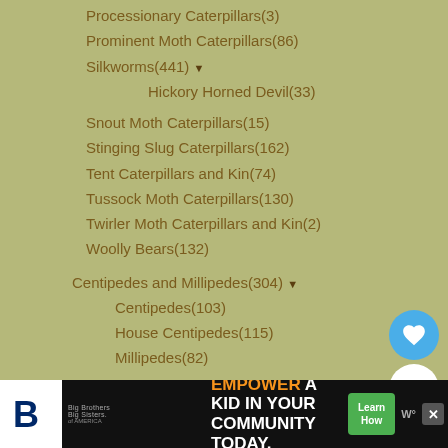Processionary Caterpillars(3)
Prominent Moth Caterpillars(86)
Silkworms(441) ▼
Hickory Horned Devil(33)
Snout Moth Caterpillars(15)
Stinging Slug Caterpillars(162)
Tent Caterpillars and Kin(74)
Tussock Moth Caterpillars(130)
Twirler Moth Caterpillars and Kin(2)
Woolly Bears(132)
Centipedes and Millipedes(304) ▼
Centipedes(103)
House Centipedes(115)
Millipedes(82)
Cicadas(330) ▼
17 Year Cicadas(45)
Cockroaches(190)
Coeloperates(1)
[Figure (screenshot): What's Next panel showing American Pelecinid with thumbnail image]
[Figure (screenshot): Advertisement banner: Big Brothers Big Sisters - Empower a Kid in Your Community Today - Learn How button]